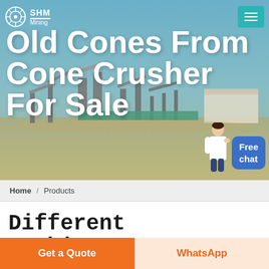[Figure (photo): Industrial mining/crushing plant with conveyor belts and equipment in desert/arid landscape, used as hero background image]
Old Cones From Cone Crusher For Sale
Home / Products
Different Machines To Meet All Need
Get a Quote
WhatsApp